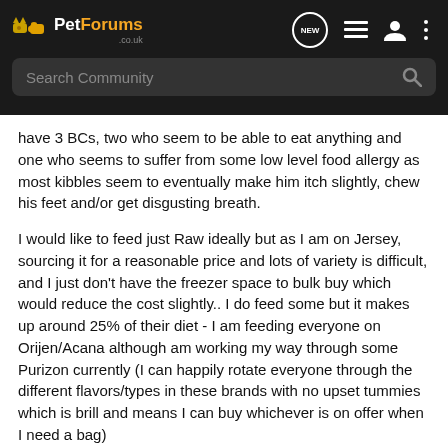PetForums .co.uk
have 3 BCs, two who seem to be able to eat anything and one who seems to suffer from some low level food allergy as most kibbles seem to eventually make him itch slightly, chew his feet and/or get disgusting breath.
I would like to feed just Raw ideally but as I am on Jersey, sourcing it for a reasonable price and lots of variety is difficult, and I just don't have the freezer space to bulk buy which would reduce the cost slightly.. I do feed some but it makes up around 25% of their diet - I am feeding everyone on Orijen/Acana although am working my way through some Purizon currently (I can happily rotate everyone through the different flavors/types in these brands with no upset tummies which is brill and means I can buy whichever is on offer when I need a bag)